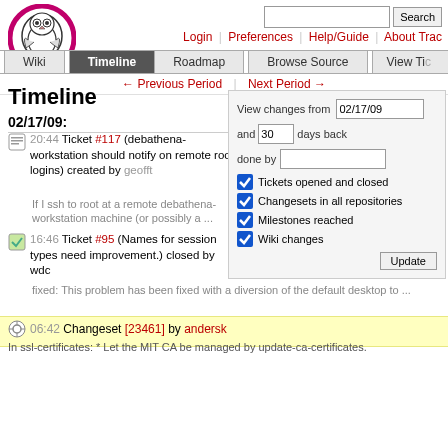[Figure (logo): Trac owl logo in red circle]
Search  Login | Preferences | Help/Guide | About Trac
Wiki | Timeline | Roadmap | Browse Source | View Tickets
← Previous Period | Next Period →
Timeline
02/17/09:
20:44 Ticket #117 (debathena-workstation should notify on remote root logins) created by geofft
If I ssh to root at a remote debathena-workstation machine (or possibly a ...
16:46 Ticket #95 (Names for session types need improvement.) closed by wdc
fixed: This problem has been fixed with a diversion of the default desktop to ...
06:42 Changeset [23461] by andersk
In ssl-certificates: * Let the MIT CA be managed by update-ca-certificates.